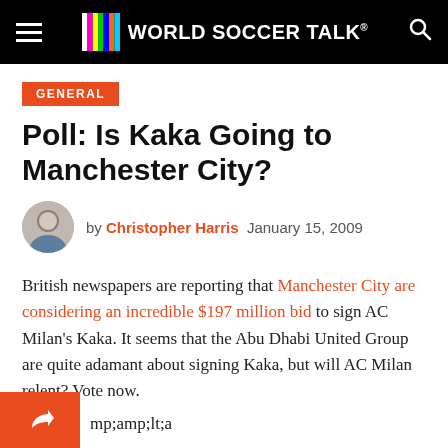WORLD SOCCER TALK
GENERAL
Poll: Is Kaka Going to Manchester City?
by Christopher Harris  January 15, 2009
British newspapers are reporting that Manchester City are considering an incredible $197 million bid to sign AC Milan's Kaka. It seems that the Abu Dhabi United Group are quite adamant about signing Kaka, but will AC Milan relent? Vote now.
mp;amp;lt;a